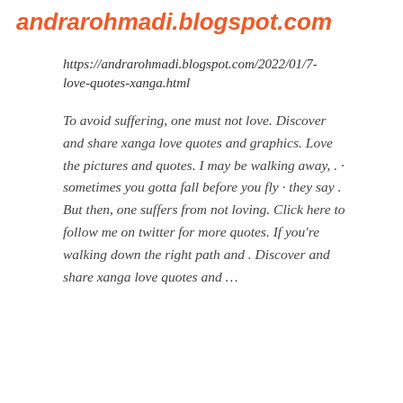andrarohmadi.blogspot.com
https://andrarohmadi.blogspot.com/2022/01/7-love-quotes-xanga.html
To avoid suffering, one must not love. Discover and share xanga love quotes and graphics. Love the pictures and quotes. I may be walking away, . · sometimes you gotta fall before you fly · they say . But then, one suffers from not loving. Click here to follow me on twitter for more quotes. If you're walking down the right path and . Discover and share xanga love quotes and …